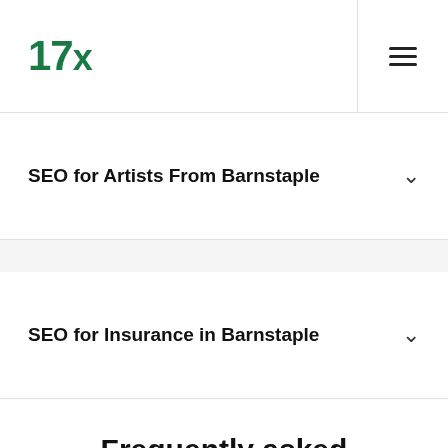17x
SEO for Artists From Barnstaple
SEO for Insurance in Barnstaple
Frequently asked questions
Why do I need SEO?